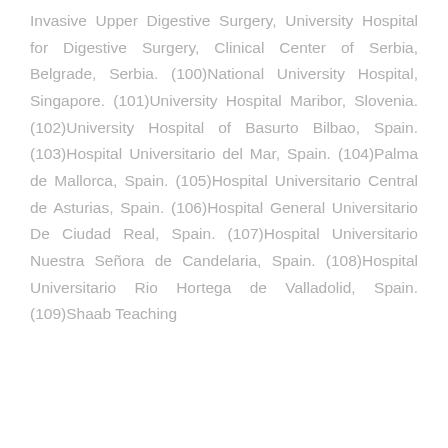Invasive Upper Digestive Surgery, University Hospital for Digestive Surgery, Clinical Center of Serbia, Belgrade, Serbia. (100)National University Hospital, Singapore. (101)University Hospital Maribor, Slovenia. (102)University Hospital of Basurto Bilbao, Spain. (103)Hospital Universitario del Mar, Spain. (104)Palma de Mallorca, Spain. (105)Hospital Universitario Central de Asturias, Spain. (106)Hospital General Universitario De Ciudad Real, Spain. (107)Hospital Universitario Nuestra Señora de Candelaria, Spain. (108)Hospital Universitario Rio Hortega de Valladolid, Spain. (109)Shaab Teaching